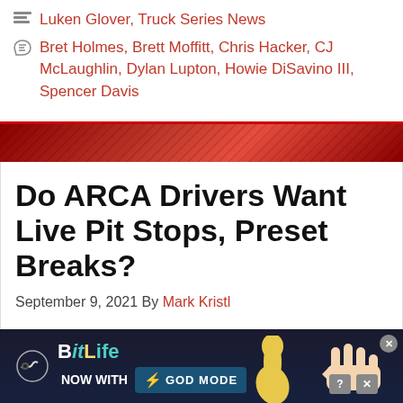Luken Glover, Truck Series News
Bret Holmes, Brett Moffitt, Chris Hacker, CJ McLaughlin, Dylan Lupton, Howie DiSavino III, Spencer Davis
Do ARCA Drivers Want Live Pit Stops, Preset Breaks?
September 9, 2021 By Mark Kristl
[Figure (illustration): BitLife advertisement banner - 'BitLife NOW WITH GOD MODE' with yellow thumb and hand pointing, dark background with blue/teal branding]